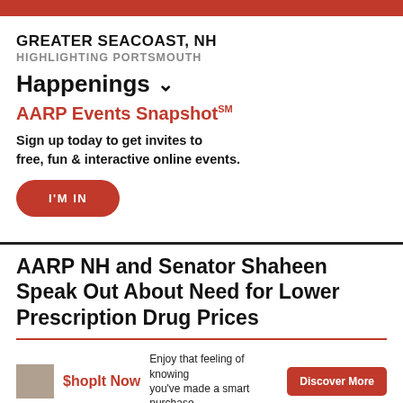GREATER SEACOAST, NH
HIGHLIGHTING PORTSMOUTH
Happenings
AARP Events Snapshot℠
Sign up today to get invites to free, fun & interactive online events.
I'M IN
AARP NH and Senator Shaheen Speak Out About Need for Lower Prescription Drug Prices
ShopIt Now — Enjoy that feeling of knowing you've made a smart purchase. Discover More